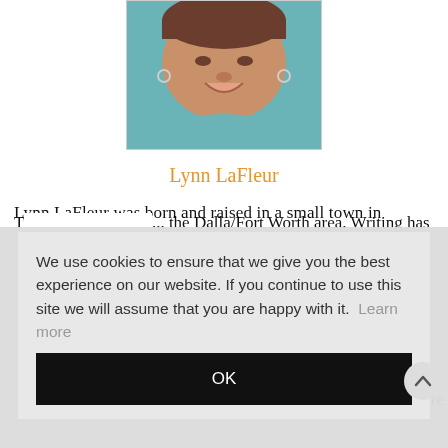[Figure (photo): Headshot photo of Lynn LaFleur, a woman with short brown hair, smiling, wearing teal/blue top and hoop earrings, cropped at shoulders.]
Lynn LaFleur
Lynn LaFleur was born and raised in a small town in T... [partially obscured text continuing]
We use cookies to ensure that we give you the best experience on our website. If you continue to use this site we will assume that you are happy with it.  Learn more
OK